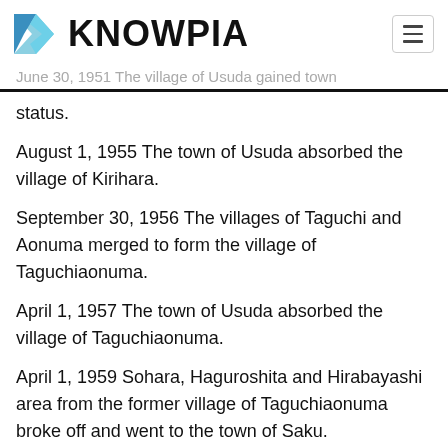KNOWPIA
status.
August 1, 1955 The town of Usuda absorbed the village of Kirihara.
September 30, 1956 The villages of Taguchi and Aonuma merged to form the village of Taguchiaonuma.
April 1, 1957 The town of Usuda absorbed the village of Taguchiaonuma.
April 1, 1959 Sohara, Haguroshita and Hirabayashi area from the former village of Taguchiaonuma broke off and went to the town of Saku.
Government
Saku has a mayor-council form of government with a